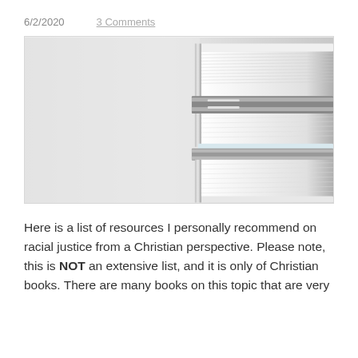6/2/2020    3 Comments
[Figure (photo): Stack of white books photographed from the side, showing pages and spines stacked on top of each other against a light gray background.]
Here is a list of resources I personally recommend on racial justice from a Christian perspective. Please note, this is NOT an extensive list, and it is only of Christian books. There are many books on this topic that are very